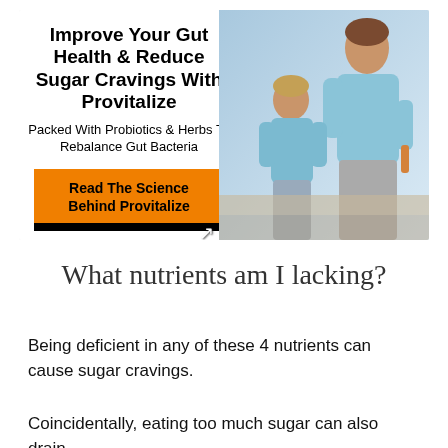[Figure (infographic): Advertisement banner for Provitalize supplement. Left side has bold title 'Improve Your Gut Health & Reduce Sugar Cravings With Provitalize', subtitle 'Packed With Probiotics & Herbs To Rebalance Gut Bacteria', and an orange button 'Read The Science Behind Provitalize'. Right side shows a photo of an adult woman and a child cooking together in a kitchen.]
What nutrients am I lacking?
Being deficient in any of these 4 nutrients can cause sugar cravings.
Coincidentally, eating too much sugar can also drain